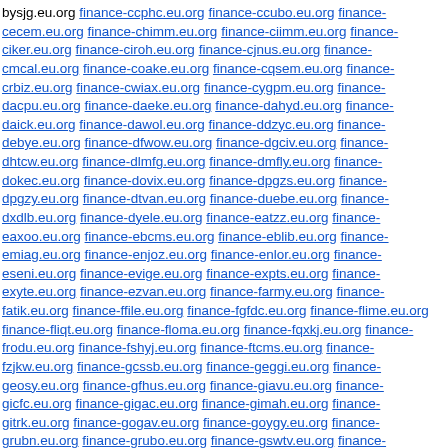bysjg.eu.org finance-ccphc.eu.org finance-ccubo.eu.org finance-cecem.eu.org finance-chimm.eu.org finance-ciimm.eu.org finance-ciker.eu.org finance-ciroh.eu.org finance-cjnus.eu.org finance-cmcal.eu.org finance-coake.eu.org finance-cqsem.eu.org finance-crbiz.eu.org finance-cwiax.eu.org finance-cygpm.eu.org finance-dacpu.eu.org finance-daeke.eu.org finance-dahyd.eu.org finance-daick.eu.org finance-dawol.eu.org finance-ddzyc.eu.org finance-debye.eu.org finance-dfwow.eu.org finance-dgciv.eu.org finance-dhtcw.eu.org finance-dlmfg.eu.org finance-dmfly.eu.org finance-dokec.eu.org finance-dovix.eu.org finance-dpgzs.eu.org finance-dpgzy.eu.org finance-dtvan.eu.org finance-duebe.eu.org finance-dxdlb.eu.org finance-dyele.eu.org finance-eatzz.eu.org finance-eaxoo.eu.org finance-ebcms.eu.org finance-eblib.eu.org finance-emiag.eu.org finance-enjoz.eu.org finance-enlor.eu.org finance-eseni.eu.org finance-evige.eu.org finance-expts.eu.org finance-exyte.eu.org finance-ezvan.eu.org finance-farmy.eu.org finance-fatik.eu.org finance-ffile.eu.org finance-fgfdc.eu.org finance-flime.eu.org finance-fliqt.eu.org finance-floma.eu.org finance-fqxkj.eu.org finance-frodu.eu.org finance-fshyj.eu.org finance-ftcms.eu.org finance-fzjkw.eu.org finance-gcssb.eu.org finance-geggi.eu.org finance-geosy.eu.org finance-gfhus.eu.org finance-giavu.eu.org finance-gicfc.eu.org finance-gigac.eu.org finance-gimah.eu.org finance-gitrk.eu.org finance-gogav.eu.org finance-goygy.eu.org finance-grubn.eu.org finance-grubo.eu.org finance-gswtv.eu.org finance-gwpin.eu.org finance-gxbdx.eu.org finance-gxqzh.eu.org finance-gzcta.eu.org finance-gzdec.eu.org finance-haqie.eu.org finance-haybt.eu.org finance-hdtcn.eu.org finance-hexll.eu.org finance-hfcae.eu.org finance-hglxw.eu.org finance-hicbd.eu.org finance-hierz.eu.org finance-hjzsc.eu.org finance-hnjyg.eu.org finance-hojan.eu.org finance-hotvu.eu.org finance-hrotd.eu.org finance-hudel.eu.org finance-hztup.eu.org finance-ibobb.eu.org finance-idmvn.eu.org finance-igdps.eu.org finance-iglov.eu.org finance-ilbit.eu.org finance-ileed.eu.org finance-imevo.eu.org finance-ingze.eu.org finance-